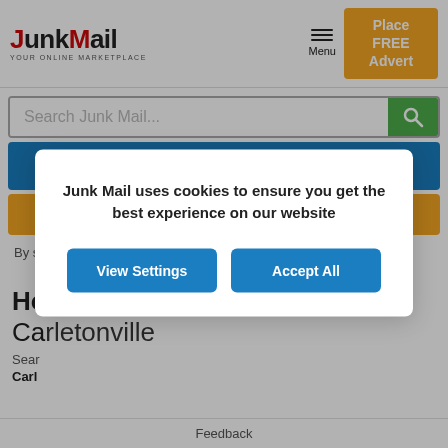JunkMail - YOUR ONLINE MARKETPLACE | Menu | Place FREE Advert
Search Junk Mail...
Refine Search
Receive Alerts
By signing up for an alert you agree to the Junk Mail T's & C's
Household on Junk Mail in Carletonville
Search results for Household in Carletonville
Junk Mail uses cookies to ensure you get the best experience on our website
View Settings | Accept All
Feedback